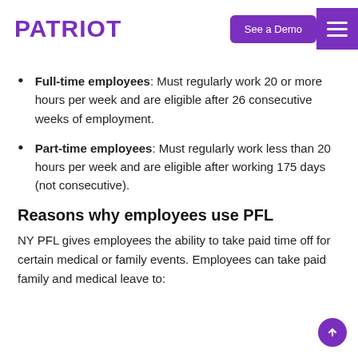PATRIOT
Full-time employees: Must regularly work 20 or more hours per week and are eligible after 26 consecutive weeks of employment.
Part-time employees: Must regularly work less than 20 hours per week and are eligible after working 175 days (not consecutive).
Reasons why employees use PFL
NY PFL gives employees the ability to take paid time off for certain medical or family events. Employees can take paid family and medical leave to: